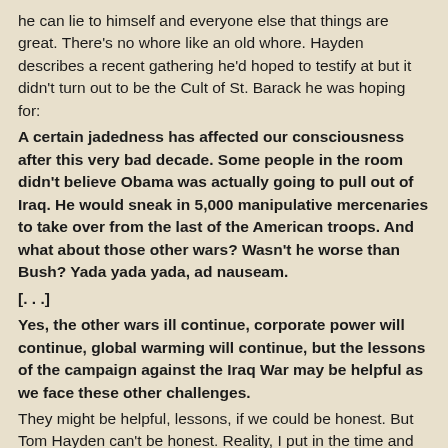he can lie to himself and everyone else that things are great. There's no whore like an old whore. Hayden describes a recent gathering he'd hoped to testify at but it didn't turn out to be the Cult of St. Barack he was hoping for:
A certain jadedness has affected our consciousness after this very bad decade. Some people in the room didn't believe Obama was actually going to pull out of Iraq. He would sneak in 5,000 manipulative mercenaries to take over from the last of the American troops. And what about those other wars? Wasn't he worse than Bush? Yada yada yada, ad nauseam.
[. . .]
Yes, the other wars ill continue, corporate power will continue, global warming will continue, but the lessons of the campaign against the Iraq War may be helpful as we face these other challenges.
They might be helpful, lessons, if we could be honest. But Tom Hayden can't be honest. Reality, I put in the time and I'd love to be able to say, "Success!" I'm not even talking about the fact that US troops and contractors will remain in Iraq. I'm saying there was no "success" at all from the US peace movement. And if we're honest, we can learn things.